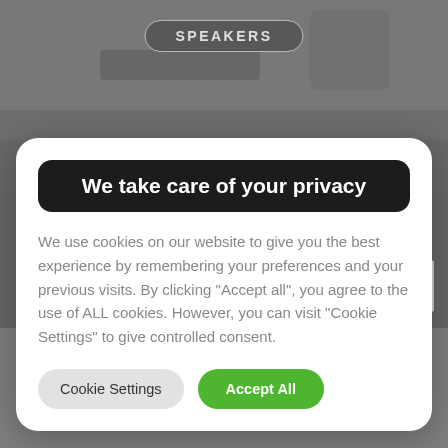[Figure (screenshot): Blurred website background with a 'SPEAKERS' pill button at the top and a notification bell icon at the bottom]
We take care of your privacy
We use cookies on our website to give you the best experience by remembering your preferences and your previous visits. By clicking "Accept all", you agree to the use of ALL cookies. However, you can visit "Cookie Settings" to give controlled consent.
Cookie Settings
Accept All